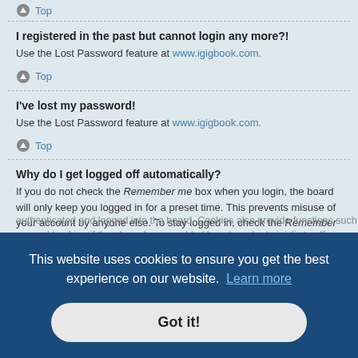Top
I registered in the past but cannot login any more?!
Use the Lost Password feature at www.igigbook.com.
Top
I've lost my password!
Use the Lost Password feature at www.igigbook.com.
Top
Why do I get logged off automatically?
If you do not check the Remember me box when you login, the board will only keep you logged in for a preset time. This prevents misuse of your account by anyone else. To stay logged in, check the Remember me box during login. This
e.g.
[Figure (screenshot): Cookie consent banner overlay with text 'This website uses cookies to ensure you get the best experience on our website. Learn more' and a 'Got it!' button]
authenticated and logged into the board. Cookies also provide functions such as read tracking if they have been enabled by a board administrator. If you are